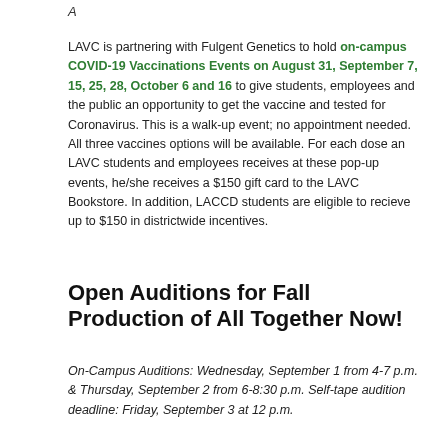A
LAVC is partnering with Fulgent Genetics to hold on-campus COVID-19 Vaccinations Events on August 31, September 7, 15, 25, 28, October 6 and 16 to give students, employees and the public an opportunity to get the vaccine and tested for Coronavirus. This is a walk-up event; no appointment needed. All three vaccines options will be available. For each dose an LAVC students and employees receives at these pop-up events, he/she receives a $150 gift card to the LAVC Bookstore. In addition, LACCD students are eligible to recieve up to $150 in districtwide incentives.
Open Auditions for Fall Production of All Together Now!
On-Campus Auditions: Wednesday, September 1 from 4-7 p.m. & Thursday, September 2 from 6-8:30 p.m. Self-tape audition deadline: Friday, September 3 at 12 p.m.